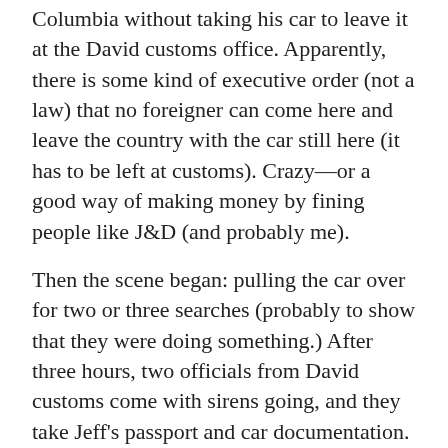Columbia without taking his car to leave it at the David customs office. Apparently, there is some kind of executive order (not a law) that no foreigner can come here and leave the country with the car still here (it has to be left at customs). Crazy—or a good way of making money by fining people like J&D (and probably me).
Then the scene began: pulling the car over for two or three searches (probably to show that they were doing something.) After three hours, two officials from David customs come with sirens going, and they take Jeff's passport and car documentation. One of them rides with Jeff back to David; the other makes Doria ride with him. They were told there would be an official (this is the Panamanian story) who would take care of everything. But when they get to David, their car is impounded, and they are told the necessary official is away and won't be back until Monday, so they have to take a taxi somewhere and come back on Monday. And